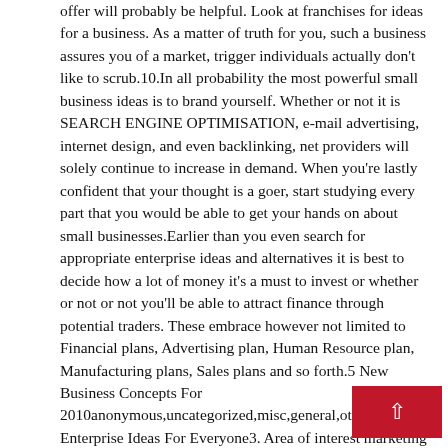offer will probably be helpful. Look at franchises for ideas for a business. As a matter of truth for you, such a business assures you of a market, trigger individuals actually don't like to scrub.10.In all probability the most powerful small business ideas is to brand yourself. Whether or not it is SEARCH ENGINE OPTIMISATION, e-mail advertising, internet design, and even backlinking, net providers will solely continue to increase in demand. When you're lastly confident that your thought is a goer, start studying every part that you would be able to get your hands on about small businesses.Earlier than you even search for appropriate enterprise ideas and alternatives it is best to decide how a lot of money it's a must to invest or whether or not or not you'll be able to attract finance through potential traders. These embrace however not limited to Financial plans, Advertising plan, Human Resource plan, Manufacturing plans, Sales plans and so forth.5 New Business Concepts For 2010anonymous,uncategorized,misc,general,other2 Cheap Enterprise Ideas For Everyone3. Area of interest marketing is a time period that has actually taken on a life of its own previously yr and will be an extremely good on-line enterprise concept in 2009.business ideas 2019 from home